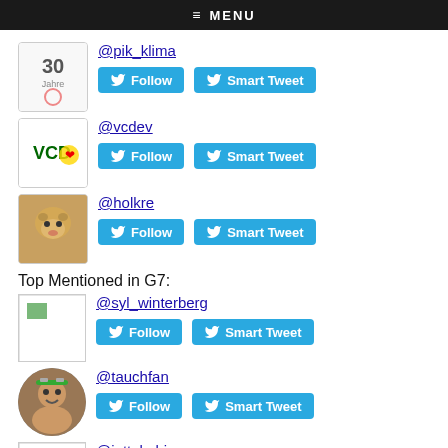≡ MENU
@pik_klima
Follow | Smart Tweet
@vcdev
Follow | Smart Tweet
@holkre
Follow | Smart Tweet
Top Mentioned in G7:
@syl_winterberg
Follow | Smart Tweet
@tauchfan
Follow | Smart Tweet
@juttakubi
Follow | Smart Tweet
@gerdaannak1
Follow | Smart Tweet